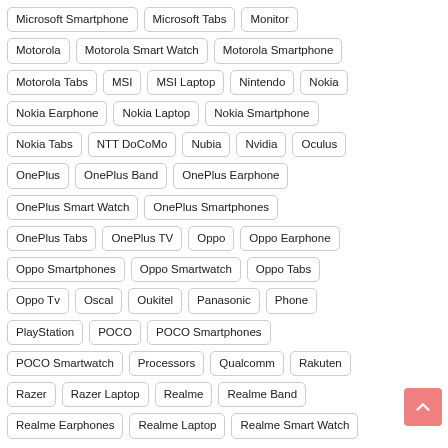Microsoft Smartphone
Microsoft Tabs
Monitor
Motorola
Motorola Smart Watch
Motorola Smartphone
Motorola Tabs
MSI
MSI Laptop
Nintendo
Nokia
Nokia Earphone
Nokia Laptop
Nokia Smartphone
Nokia Tabs
NTT DoCoMo
Nubia
Nvidia
Oculus
OnePlus
OnePlus Band
OnePlus Earphone
OnePlus Smart Watch
OnePlus Smartphones
OnePlus Tabs
OnePlus TV
Oppo
Oppo Earphone
Oppo Smartphones
Oppo Smartwatch
Oppo Tabs
Oppo Tv
Oscal
Oukitel
Panasonic
Phone
PlayStation
POCO
POCO Smartphones
POCO Smartwatch
Processors
Qualcomm
Rakuten
Razer
Razer Laptop
Realme
Realme Band
Realme Earphones
Realme Laptop
Realme Smart Watch